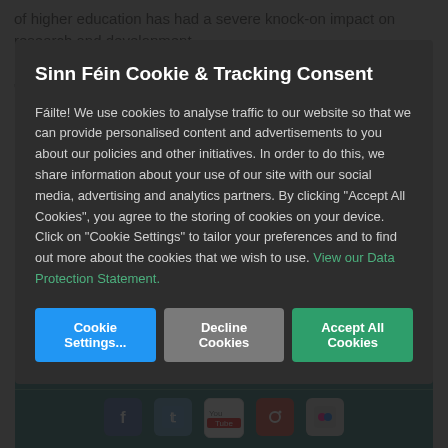of higher education has had a severe knock-on impact on research and development.
“At the same time, figures released this month show that €658 million in research and development tax relief was provided to
Sinn Féin Cookie & Tracking Consent
Fáilte! We use cookies to analyse traffic to our website so that we can provide personalised content and advertisements to you about our policies and other initiatives. In order to do this, we share information about your use of our site with our social media, advertising and analytics partners. By clicking “Accept All Cookies”, you agree to the storing of cookies on your device. Click on “Cookie Settings” to tailor your preferences and to find out more about the cookies that we wish to use. View our Data Protection Statement.
Connect with Sinn Féin